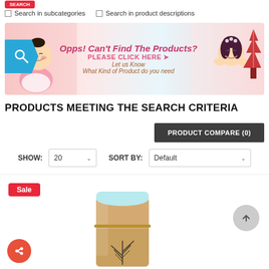[Figure (screenshot): Red button at top of search results page]
Search in subcategories   Search in product descriptions
[Figure (illustration): Banner image: Opps! Can't Find The Products? PLEASE CLICK HERE - Let us Know What Kind of Product do you need]
PRODUCTS MEETING THE SEARCH CRITERIA
PRODUCT COMPARE (0)
SHOW: 20   SORT BY: Default
Sale
[Figure (photo): Product image - gold/tan colored cylindrical cosmetic container with black plant design at bottom]